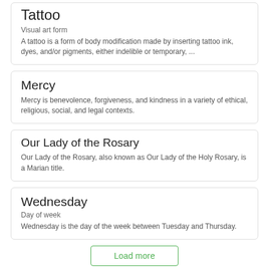Tattoo
Visual art form
A tattoo is a form of body modification made by inserting tattoo ink, dyes, and/or pigments, either indelible or temporary, ...
Mercy
Mercy is benevolence, forgiveness, and kindness in a variety of ethical, religious, social, and legal contexts.
Our Lady of the Rosary
Our Lady of the Rosary, also known as Our Lady of the Holy Rosary, is a Marian title.
Wednesday
Day of week
Wednesday is the day of the week between Tuesday and Thursday.
Load more